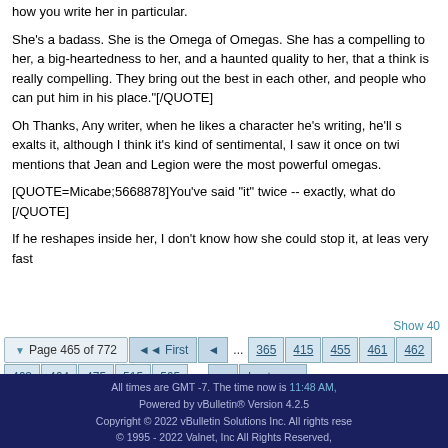how you write her in particular.
She's a badass. She is the Omega of Omegas. She has a compelling to her, a big-heartedness to her, and a haunted quality to her, that a think is really compelling. They bring out the best in each other, and people who can put him in his place."[/QUOTE]
Oh Thanks, Any writer, when he likes a character he's writing, he'll s exalts it, although I think it's kind of sentimental, I saw it once on twi mentions that Jean and Legion were the most powerful omegas.
[QUOTE=Micabe;5668878]You've said "it" twice -- exactly, what do [/QUOTE]
If he reshapes inside her, I don't know how she could stop it, at leas very fast
Show 40
Page 465 of 772  ◄◄ First  ◄  ...  365  415  455  461  462  463  464  475  515  565  ...  ►  Last ►►
All times are GMT -7. The time now is 11:48 AM. Powered by vBulletin® Version 4.2.5 Copyright © 2022 vBulletin Solutions Inc. All rights reserved. © 1995 - 2022 Valnet, Inc All Rights Reserved.